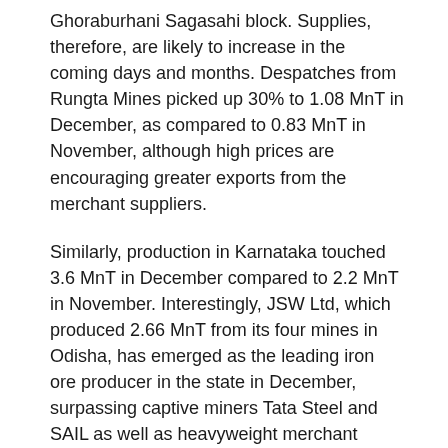Ghoraburhani Sagasahi block. Supplies, therefore, are likely to increase in the coming days and months. Despatches from Rungta Mines picked up 30% to 1.08 MnT in December, as compared to 0.83 MnT in November, although high prices are encouraging greater exports from the merchant suppliers.
Similarly, production in Karnataka touched 3.6 MnT in December compared to 2.2 MnT in November. Interestingly, JSW Ltd, which produced 2.66 MnT from its four mines in Odisha, has emerged as the leading iron ore producer in the state in December, surpassing captive miners Tata Steel and SAIL as well as heavyweight merchant miners such as OMC.
Moreover, JSW has commenced operations at 7 out of 9 ‘C’ category mines in Karnataka that the integrated steel-maker won at successive auctions from 2016 onwards. As per SteelMint data, JSW produced 0.49 MnT from its mines in